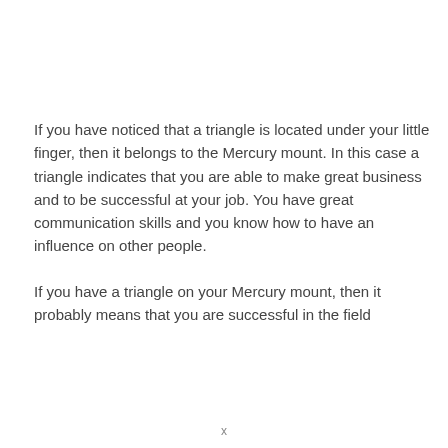If you have noticed that a triangle is located under your little finger, then it belongs to the Mercury mount. In this case a triangle indicates that you are able to make great business and to be successful at your job. You have great communication skills and you know how to have an influence on other people.
If you have a triangle on your Mercury mount, then it probably means that you are successful in the field
x